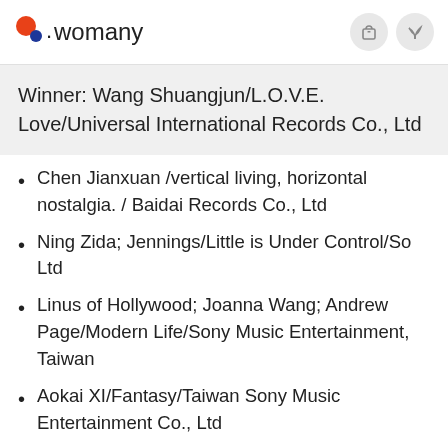womany
Winner: Wang Shuangjun/L.O.V.E. Love/Universal International Records Co., Ltd
Chen Jianxuan /vertical living, horizontal nostalgia. / Baidai Records Co., Ltd
Ning Zida; Jennings/Little is Under Control/So Ltd
Linus of Hollywood; Joanna Wang; Andrew Page/Modern Life/Sony Music Entertainment, Taiwan
Aokai XI/Fantasy/Taiwan Sony Music Entertainment Co., Ltd